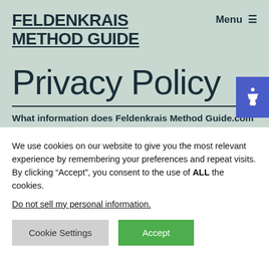FELDENKRAIS METHOD GUIDE
Privacy Policy
What information does Feldenkrais Method Guide.com
We use cookies on our website to give you the most relevant experience by remembering your preferences and repeat visits. By clicking “Accept”, you consent to the use of ALL the cookies.
Do not sell my personal information.